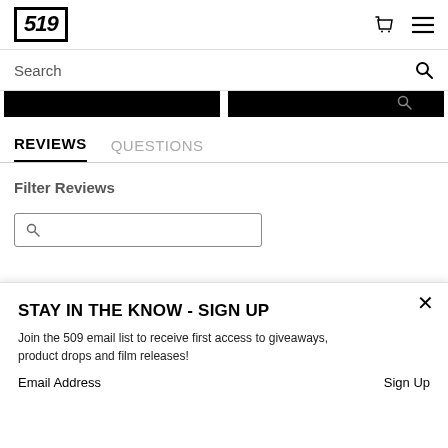519 [logo] + cart icon + menu icon
Search
[Figure (screenshot): Two black button/banner elements side by side]
REVIEWS   QUESTIONS
Filter Reviews
[Figure (screenshot): Search input box with magnifying glass icon]
STAY IN THE KNOW - SIGN UP
Join the 509 email list to receive first access to giveaways, product drops and film releases!
Email Address   Sign Up